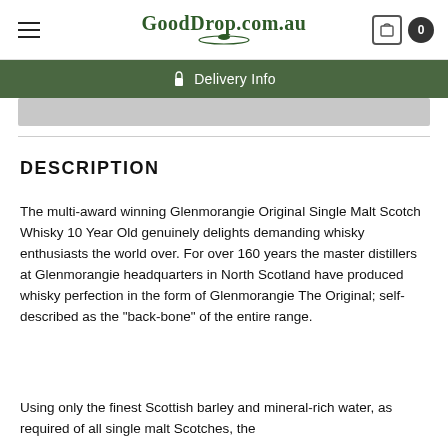GoodDrop.com.au
Delivery Info
DESCRIPTION
The multi-award winning Glenmorangie Original Single Malt Scotch Whisky 10 Year Old genuinely delights demanding whisky enthusiasts the world over. For over 160 years the master distillers at Glenmorangie headquarters in North Scotland have produced whisky perfection in the form of Glenmorangie The Original; self-described as the "back-bone" of the entire range.
Using only the finest Scottish barley and mineral-rich water, as required of all single malt Scotches, the Glenmorangie distillery has become one of the finest in d